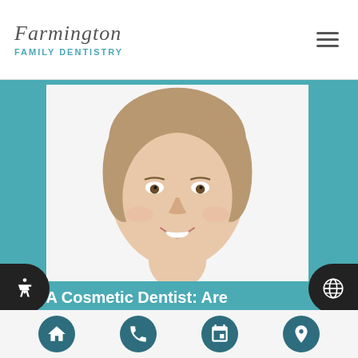Farmington Family Dentistry
[Figure (photo): Young woman smiling with bright white teeth, close-up portrait on white background, surrounded by teal border]
Ask A Cosmetic Dentist: Are Veneers Considered Cosmetic
While veneers are technically considered cosmetic
[Figure (infographic): Bottom navigation bar with four circular teal buttons: home icon, phone icon, calendar icon, location pin icon. Plus accessibility icon on left and globe icon on right.]